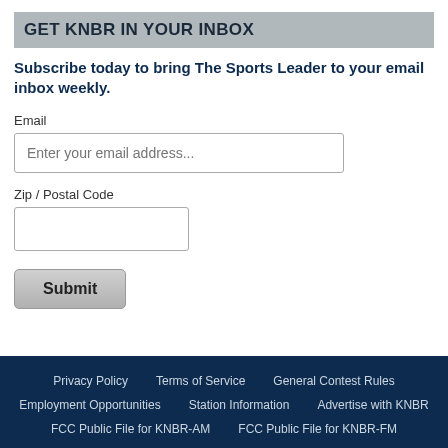GET KNBR IN YOUR INBOX
Subscribe today to bring The Sports Leader to your email inbox weekly.
Email
Enter your email address...
Zip / Postal Code
Submit
Privacy Policy   Terms of Service   General Contest Rules   Employment Opportunities   Station Information   Advertise with KNBR   FCC Public File for KNBR-AM   FCC Public File for KNBR-FM